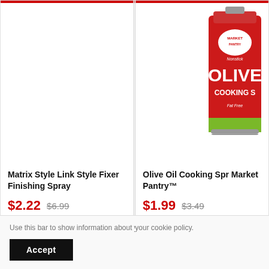[Figure (photo): Left product card image area (empty/white, product not visible)]
Matrix Style Link Style Fixer Finishing Spray
$2.22  $6.99
[Figure (photo): Olive Oil Cooking Spray can with red label - Market Pantry brand, partially cropped on right side]
Olive Oil Cooking Spray - Market Pantry™
$1.99  $3.49
Use this bar to show information about your cookie policy.
Accept
ABOUT THE SHOP +